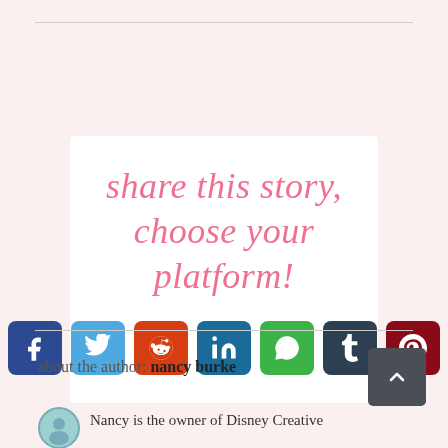[Figure (infographic): Share this story social media widget box with cursive pink heading and 7 social media icon buttons (Facebook, Twitter, Reddit, LinkedIn, WhatsApp, Tumblr, Pinterest)]
about the author: nancy burke
Nancy is the owner of Disney Creative